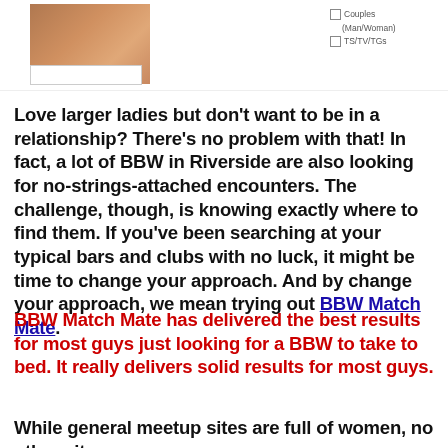[Figure (photo): Partial photo of a person at top left, with a white label box below it. Checkboxes for 'Couples (Man/Woman)' and 'TS/TV/TGs' at top right.]
Love larger ladies but don't want to be in a relationship? There's no problem with that! In fact, a lot of BBW in Riverside are also looking for no-strings-attached encounters. The challenge, though, is knowing exactly where to find them. If you've been searching at your typical bars and clubs with no luck, it might be time to change your approach. And by change your approach, we mean trying out BBW Match Mate.
BBW Match Mate has delivered the best results for most guys just looking for a BBW to take to bed. It really delivers solid results for most guys.
While general meetup sites are full of women, no other site